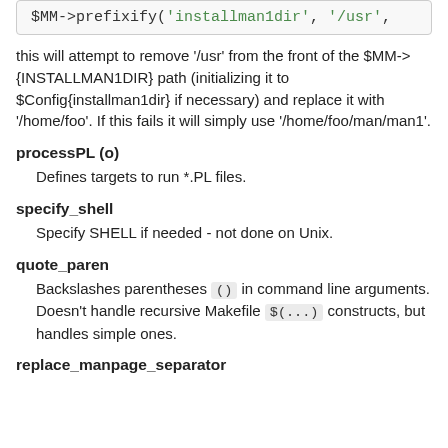$MM->prefixify('installman1dir', '/usr',
this will attempt to remove '/usr' from the front of the $MM->{INSTALLMAN1DIR} path (initializing it to $Config{installman1dir} if necessary) and replace it with '/home/foo'. If this fails it will simply use '/home/foo/man/man1'.
processPL (o)
Defines targets to run *.PL files.
specify_shell
Specify SHELL if needed - not done on Unix.
quote_paren
Backslashes parentheses () in command line arguments. Doesn't handle recursive Makefile $(...) constructs, but handles simple ones.
replace_manpage_separator